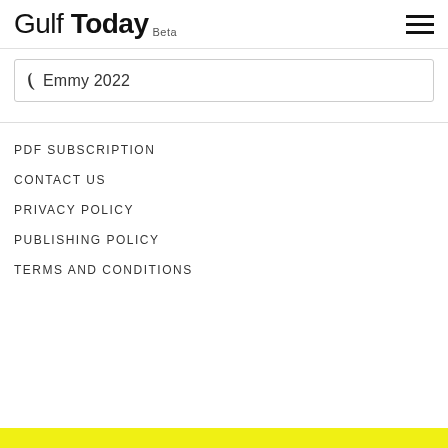Gulf Today Beta
Emmy 2022
PDF SUBSCRIPTION
CONTACT US
PRIVACY POLICY
PUBLISHING POLICY
TERMS AND CONDITIONS